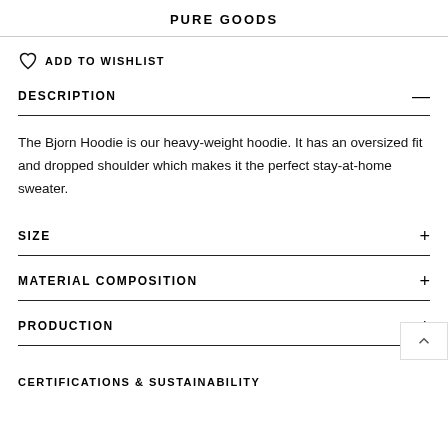PURE GOODS
♡ ADD TO WISHLIST
DESCRIPTION
The Bjorn Hoodie is our heavy-weight hoodie. It has an oversized fit and dropped shoulder which makes it the perfect stay-at-home sweater.
SIZE
MATERIAL COMPOSITION
PRODUCTION
CERTIFICATIONS & SUSTAINABILITY